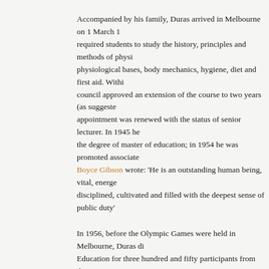Accompanied by his family, Duras arrived in Melbourne on 1 March 1... required students to study the history, principles and methods of physi... physiological bases, body mechanics, hygiene, diet and first aid. Withi... council approved an extension of the course to two years (as suggeste... appointment was renewed with the status of senior lecturer. In 1945 he... the degree of master of education; in 1954 he was promoted associate... Boyce Gibson wrote: 'He is an outstanding human being, vital, energe... disciplined, cultivated and filled with the deepest sense of public duty'...
In 1956, before the Olympic Games were held in Melbourne, Duras di... Education for three hundred and fifty participants from thirty countries... the Medical Act (1928) enabled persons with acceptable foreign qualif... Duras was among the earliest admitted. He was also prominent in havi... and physical education built at the university that year.
A pioneer in his field, Duras had a career studded with 'firsts'. He was... president of the Australian Sports Medicine Association, the first Aust... American Academy of Physical Education, the first president (1954-5... Education Association and later of the International Council for Physi... organizations with which he was associated included the National Fitm... Council, the Playgrounds and Recreation Association of Victoria, the...